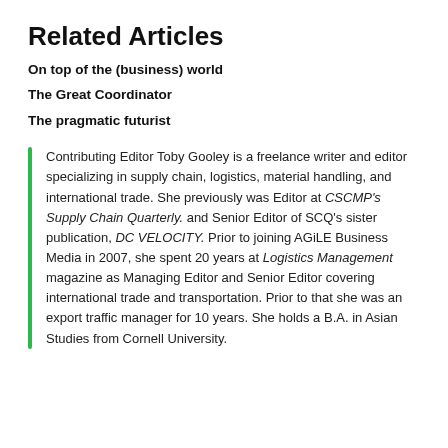Related Articles
On top of the (business) world
The Great Coordinator
The pragmatic futurist
Contributing Editor Toby Gooley is a freelance writer and editor specializing in supply chain, logistics, material handling, and international trade. She previously was Editor at CSCMP's Supply Chain Quarterly. and Senior Editor of SCQ's sister publication, DC VELOCITY. Prior to joining AGiLE Business Media in 2007, she spent 20 years at Logistics Management magazine as Managing Editor and Senior Editor covering international trade and transportation. Prior to that she was an export traffic manager for 10 years. She holds a B.A. in Asian Studies from Cornell University.